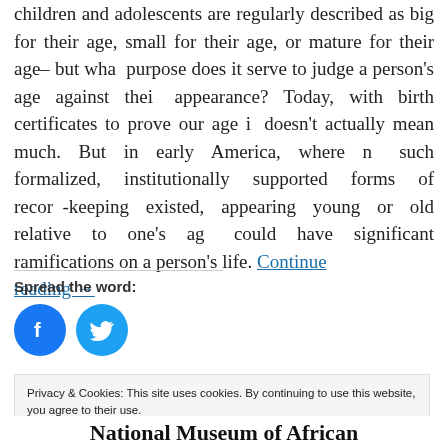children and adolescents are regularly described as big for their age, small for their age, or mature for their age– but what purpose does it serve to judge a person's age against their appearance? Today, with birth certificates to prove our age it doesn't actually mean much. But in early America, where no such formalized, institutionally supported forms of record-keeping existed, appearing young or old relative to one's age could have significant ramifications on a person's life. Continue reading →
Spread the word:
[Figure (other): Facebook and Twitter social share icons (blue circles with logos)]
Privacy & Cookies: This site uses cookies. By continuing to use this website, you agree to their use.
To find out more, including how to control cookies, see here: Cookie Policy
National Museum of African